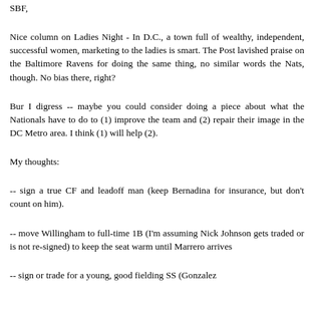SBF,
Nice column on Ladies Night - In D.C., a town full of wealthy, independent, successful women, marketing to the ladies is smart. The Post lavished praise on the Baltimore Ravens for doing the same thing, no similar words the Nats, though. No bias there, right?
Bur I digress -- maybe you could consider doing a piece about what the Nationals have to do to (1) improve the team and (2) repair their image in the DC Metro area. I think (1) will help (2).
My thoughts:
-- sign a true CF and leadoff man (keep Bernadina for insurance, but don't count on him).
-- move Willingham to full-time 1B (I'm assuming Nick Johnson gets traded or is not re-signed) to keep the seat warm until Marrero arrives
-- sign or trade for a young, good fielding SS (Gonzalez